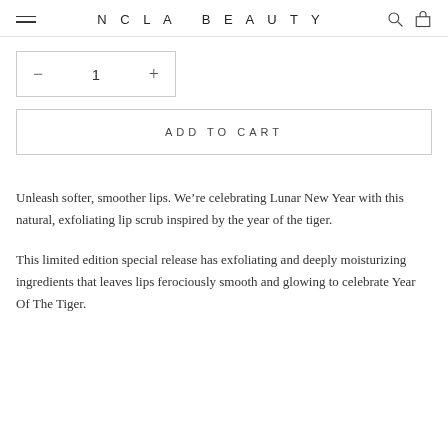NCLA BEAUTY
— 1 +
ADD TO CART
Unleash softer, smoother lips. We're celebrating Lunar New Year with this natural, exfoliating lip scrub inspired by the year of the tiger.
This limited edition special release has exfoliating and deeply moisturizing ingredients that leaves lips ferociously smooth and glowing to celebrate Year Of The Tiger.